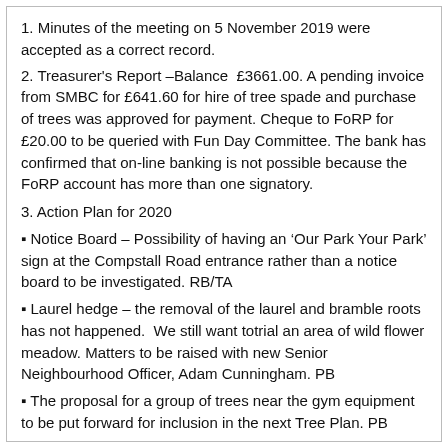1. Minutes of the meeting on 5 November 2019 were accepted as a correct record.
2. Treasurer's Report –Balance  £3661.00. A pending invoice from SMBC for £641.60 for hire of tree spade and purchase of trees was approved for payment. Cheque to FoRP for £20.00 to be queried with Fun Day Committee. The bank has confirmed that on-line banking is not possible because the FoRP account has more than one signatory.
3. Action Plan for 2020
▪ Notice Board – Possibility of having an 'Our Park Your Park' sign at the Compstall Road entrance rather than a notice board to be investigated. RB/TA
▪ Laurel hedge – the removal of the laurel and bramble roots has not happened.  We still want totrial an area of wild flower meadow. Matters to be raised with new Senior Neighbourhood Officer, Adam Cunningham. PB
▪ The proposal for a group of trees near the gym equipment to be put forward for inclusion in the next Tree Plan. PB
▪ Tree Plan Winter 2019 – 20 – the Dawn Redwood and the small Cypress have been moved; the latter needs a stake; the replacement Plane tree has been planted; the Holly is being planted on 6 March; the Liquidambars and Hawthorns are due